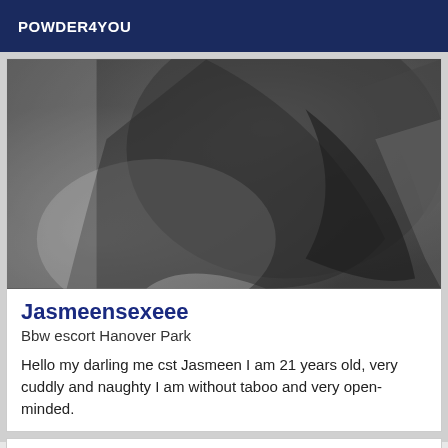POWDER4YOU
[Figure (photo): Black and white close-up photograph of a person's body, grainy texture]
Jasmeensexeee
Bbw escort Hanover Park
Hello my darling me cst Jasmeen I am 21 years old, very cuddly and naughty I am without taboo and very open-minded.